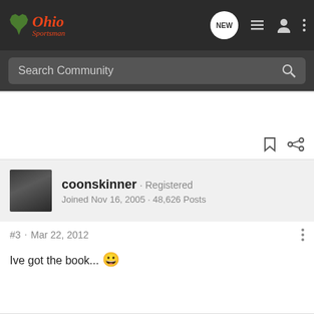Ohio Sportsman
Search Community
coonskinner · Registered
Joined Nov 16, 2005 · 48,626 Posts
#3 · Mar 22, 2012
Ive got the book... 😀